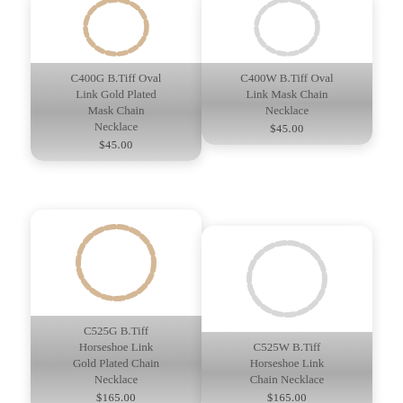[Figure (photo): C400G B.Tiff Oval Link Gold Plated Mask Chain Necklace product image - circular chain shown from above]
C400G B.Tiff Oval Link Gold Plated Mask Chain Necklace
$45.00
[Figure (photo): C400W B.Tiff Oval Link Mask Chain Necklace product image - circular chain shown from above]
C400W B.Tiff Oval Link Mask Chain Necklace
$45.00
[Figure (photo): C525G B.Tiff Horseshoe Link Gold Plated Chain Necklace product image - circular chain shown from above]
C525G B.Tiff Horseshoe Link Gold Plated Chain Necklace
$165.00
[Figure (photo): C525W B.Tiff Horseshoe Link Chain Necklace product image - circular chain shown from above]
C525W B.Tiff Horseshoe Link Chain Necklace
$165.00